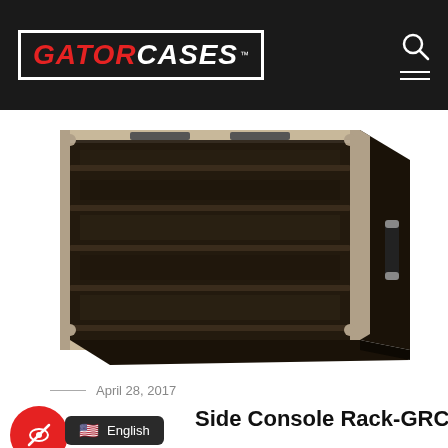[Figure (logo): Gator Cases logo — red italic GATOR, white italic CASES, white border box, on dark background header with search icon and hamburger menu]
[Figure (photo): Product photo of a black Gator Cases rack case with aluminum edges, handle visible on right, latches on top, three-quarter view on white background]
April 28, 2017
Side Console Rack-GRC-10